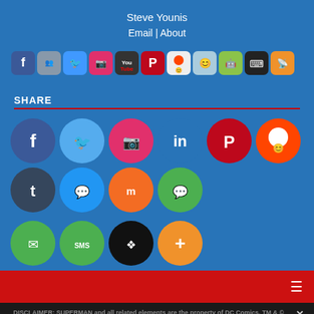Steve Younis
Email | About
[Figure (infographic): Row of social media app icons: Facebook, Google+/Contacts, Twitter, Instagram, YouTube, Pinterest, Reddit, Tumblr, Android, BlackBerry, RSS, Pocket]
SHARE
[Figure (infographic): Social share buttons: Facebook, Twitter, Instagram, LinkedIn, Pinterest, Reddit, Tumblr, Messenger, Mix, WhatsApp, Email, SMS, Buffer, More]
DISCLAIMER: SUPERMAN and all related elements are the property of DC Comics. TM & © 2022
This Superman Homepage is Copyright © Steven Younis 1994
All rights reserved.
Privacy Preferences
I Agree